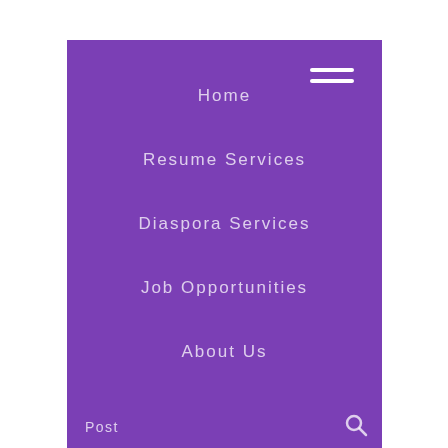Home
Resume Services
Diaspora Services
Job Opportunities
About Us
Post